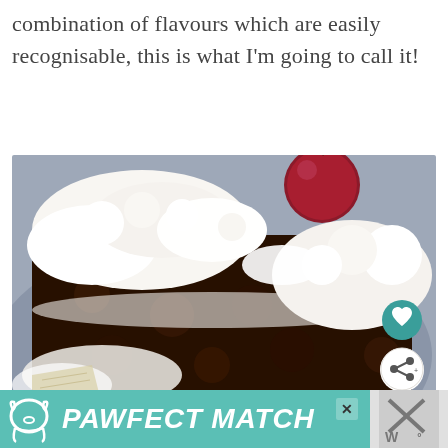combination of flavours which are easily recognisable, this is what I'm going to call it!
[Figure (photo): Close-up photo of a black forest cake slice or similar chocolate cake with whipped cream and a cherry on top, on a blue-grey plate. Social sharing buttons visible on the right side.]
[Figure (other): Advertisement banner for 'PAWFECT MATCH' showing a dog logo on a teal/mint green background with bold white italic text.]